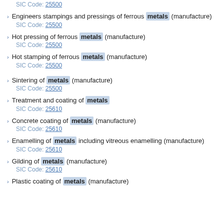SIC Code: 25500
Engineers stampings and pressings of ferrous metals (manufacture)
SIC Code: 25500
Hot pressing of ferrous metals (manufacture)
SIC Code: 25500
Hot stamping of ferrous metals (manufacture)
SIC Code: 25500
Sintering of metals (manufacture)
SIC Code: 25500
Treatment and coating of metals
SIC Code: 25610
Concrete coating of metals (manufacture)
SIC Code: 25610
Enamelling of metals including vitreous enamelling (manufacture)
SIC Code: 25610
Gilding of metals (manufacture)
SIC Code: 25610
Plastic coating of metals (manufacture)